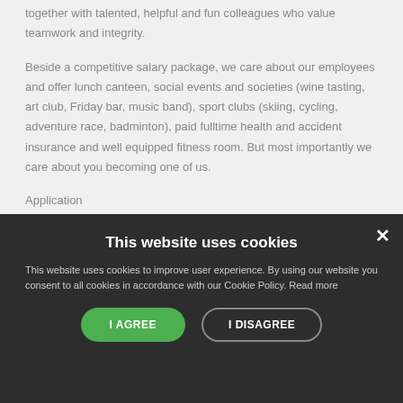together with talented, helpful and fun colleagues who value teamwork and integrity.
Beside a competitive salary package, we care about our employees and offer lunch canteen, social events and societies (wine tasting, art club, Friday bar, music band), sport clubs (skiing, cycling, adventure race, badminton), paid fulltime health and accident insurance and well equipped fitness room. But most importantly we care about you becoming one of us.
Application
[Figure (screenshot): Cookie consent overlay on dark background with title 'This website uses cookies', descriptive text, and two buttons: 'I AGREE' (green) and 'I DISAGREE' (outline), plus a close X button.]